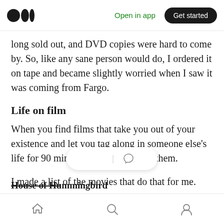Medium logo | Open in app | Get started
long sold out, and DVD copies were hard to come by. So, like any sane person would do, I ordered it on tape and became slightly worried when I saw it was coming from Fargo.
Life on film
When you find films that take you out of your existence and let you tag along in someone else's life for 90 minutes or so, hold on to them.
I made a list of the movies that do that for me.
House of Hummingbird